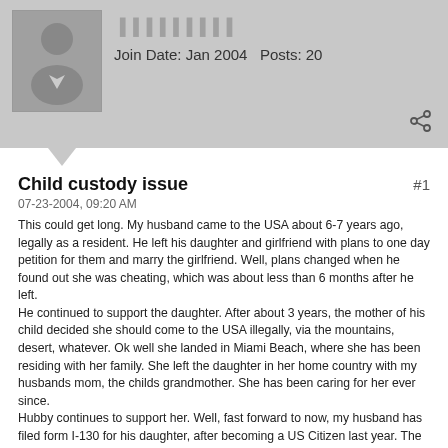Join Date: Jan 2004   Posts: 20
Child custody issue
07-23-2004, 09:20 AM
This could get long. My husband came to the USA about 6-7 years ago, legally as a resident. He left his daughter and girlfriend with plans to one day petition for them and marry the girlfriend. Well, plans changed when he found out she was cheating, which was about less than 6 months after he left.
He continued to support the daughter. After about 3 years, the mother of his child decided she should come to the USA illegally, via the mountains, desert, whatever. Ok well she landed in Miami Beach, where she has been residing with her family. She left the daughter in her home country with my husbands mom, the childs grandmother. She has been caring for her ever since.
Hubby continues to support her. Well, fast forward to now, my husband has filed form I-130 for his daughter, after becoming a US Citizen last year. The case was approved and we should have her here within a few months.
On to my question. I understand my husband has financial responsability over the child, since he petitioned for her, but can the child reside with her mother? My reason for asking is the mom wants her, my hubby wants her. They've decided to leave the decision up to the child who is 10. In my opinion too young to have to choose, since she is undecided and worried of "hurting someone's feelings".I believe